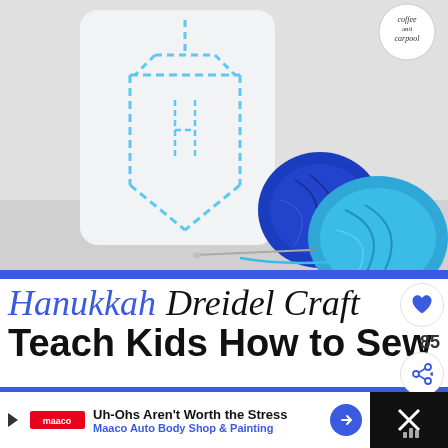[Figure (photo): Hanukkah dreidel craft photo showing a white plastic bottle with blue dashed dreidel pattern drawn on it, two balls of blue and teal yarn, and a large needle with blue thread on a white surface. A circular logo in top right reads 'Coffee and Carpool'.]
Hanukkah Dreidel Craft Teach Kids How to Sew
[Figure (photo): Partial bottom photo strip showing close-up of the dreidel craft in progress with blue ruled lines visible.]
WHAT'S NEXT → Use This Halloween...
[Figure (photo): Small thumbnail image for 'What's Next' content about Halloween.]
Uh-Ohs Aren't Worth the Stress Maaco Auto Body Shop & Painting